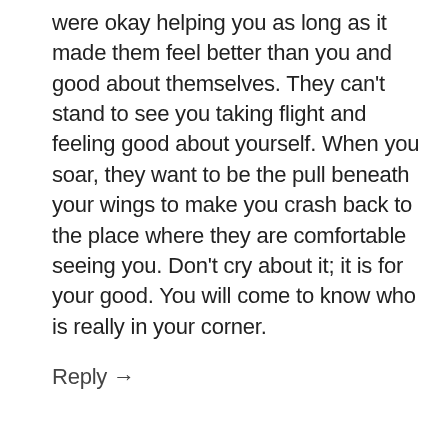were okay helping you as long as it made them feel better than you and good about themselves. They can't stand to see you taking flight and feeling good about yourself. When you soar, they want to be the pull beneath your wings to make you crash back to the place where they are comfortable seeing you. Don't cry about it; it is for your good. You will come to know who is really in your corner.
Reply →